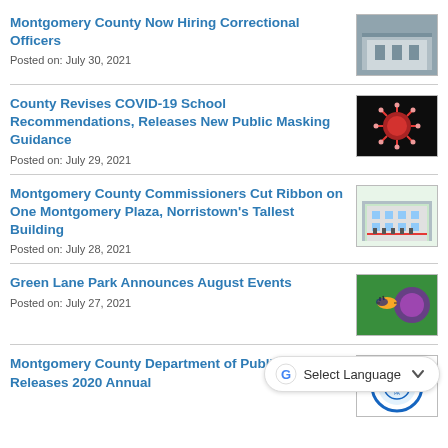Montgomery County Now Hiring Correctional Officers
Posted on: July 30, 2021
[Figure (photo): Photo of a correctional facility building exterior]
County Revises COVID-19 School Recommendations, Releases New Public Masking Guidance
Posted on: July 29, 2021
[Figure (photo): Dark background image with a red COVID-19 coronavirus particle]
Montgomery County Commissioners Cut Ribbon on One Montgomery Plaza, Norristown's Tallest Building
Posted on: July 28, 2021
[Figure (photo): Photo of a ribbon cutting ceremony at a building entrance with people present]
Green Lane Park Announces August Events
Posted on: July 27, 2021
[Figure (photo): Photo of a bee on purple flowers in a green park setting]
Montgomery County Department of Public Safety Releases 2020 Annual
[Figure (logo): Circular seal/logo of Montgomery County]